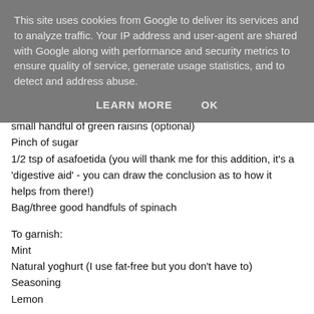This site uses cookies from Google to deliver its services and to analyze traffic. Your IP address and user-agent are shared with Google along with performance and security metrics to ensure quality of service, generate usage statistics, and to detect and address abuse.
LEARN MORE    OK
small handful of green raisins (optional)
Pinch of sugar
1/2 tsp of asafoetida (you will thank me for this addition, it's a 'digestive aid' - you can draw the conclusion as to how it helps from there!)
Bag/three good handfuls of spinach
To garnish:
Mint
Natural yoghurt (I use fat-free but you don't have to)
Seasoning
Lemon
Method: